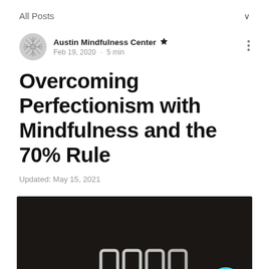All Posts
Austin Mindfulness Center · Feb 19, 2020 · 5 min
Overcoming Perfectionism with Mindfulness and the 70% Rule
Updated: May 15, 2021
[Figure (photo): Dark background photo with illuminated white neon-style letters, partially visible. A teal circular button with three white dots overlaid in bottom-right.]